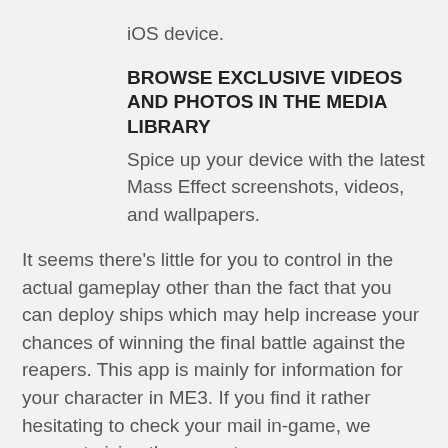iOS device.
BROWSE EXCLUSIVE VIDEOS AND PHOTOS IN THE MEDIA LIBRARY
Spice up your device with the latest Mass Effect screenshots, videos, and wallpapers.
It seems there’s little for you to control in the actual gameplay other than the fact that you can deploy ships which may help increase your chances of winning the final battle against the reapers. This app is mainly for information for your character in ME3. If you find it rather hesitating to check your mail in-game, we suggest giving the app a try.
Currently there is no word on when it will be released for Android devices.
Source: